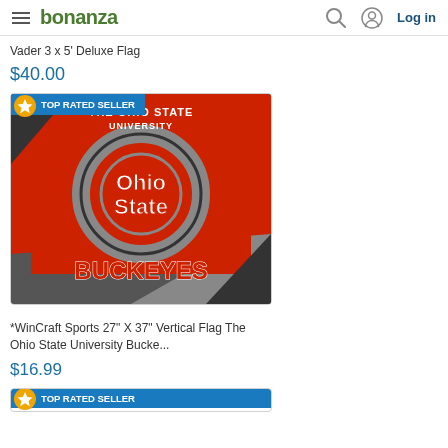bonanza  Log in
Vader 3 x 5' Deluxe Flag
$40.00
[Figure (photo): Ohio State Buckeyes vertical flag with red, gray, and black design showing 'THE OHIO STATE UNIVERSITY', a large block O logo, 'Ohio State' text, and 'BUCKEYES' text. Has a 'TOP RATED SELLER' badge in the upper left corner.]
*WinCraft Sports 27" X 37" Vertical Flag The Ohio State University Bucke...
$16.99
TOP RATED SELLER